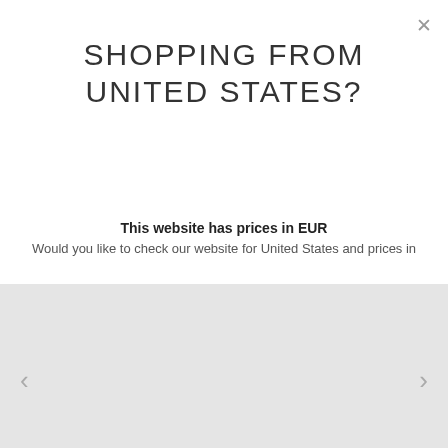SHOPPING FROM UNITED STATES?
This website has prices in EUR
Would you like to check our website for United States and prices in
[Figure (screenshot): Carousel image area with left and right navigation arrows, light gray background]
TUXEDOS / SHAWL LAPEL / BLUE
Blue Wool Blends round lapel Tuxedo
419€ VAT incl.